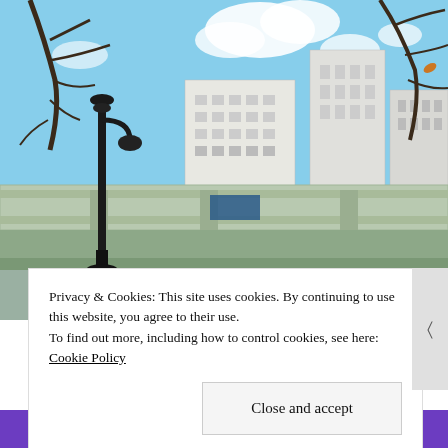[Figure (photo): Outdoor urban scene showing an elevated railway or highway structure with green painted steel beams, an ornate black street lamp in the foreground, bare winter trees, tall white office buildings in the background, and a partly cloudy blue sky.]
Privacy & Cookies: This site uses cookies. By continuing to use this website, you agree to their use.
To find out more, including how to control cookies, see here: Cookie Policy
Close and accept
subscriptions online